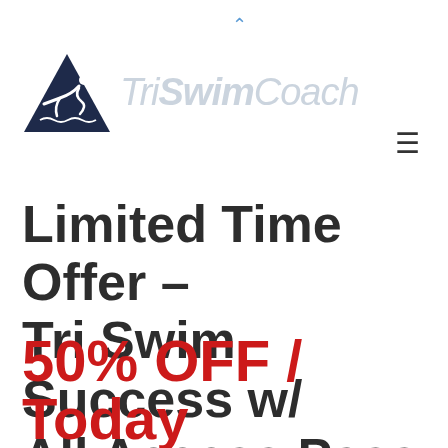[Figure (logo): TriSwimCoach logo: dark navy triangle with swimmer silhouette icon, followed by italic text 'TriSwimCoach' in light blue-gray]
Limited Time Offer – Tri Swim Success w/ All Access Pass
50% OFF / Today